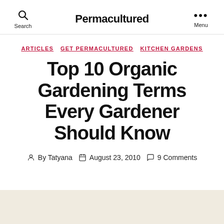Permacultured
ARTICLES   GET PERMACULTURED   KITCHEN GARDENS
Top 10 Organic Gardening Terms Every Gardener Should Know
By Tatyana   August 23, 2010   9 Comments